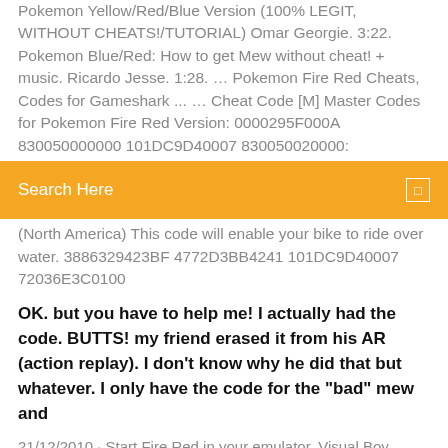Pokemon Yellow/Red/Blue Version (100% LEGIT, WITHOUT CHEATS!/TUTORIAL) Omar Georgie. 3:22. Pokemon Blue/Red: How to get Mew without cheat! + music. Ricardo Jesse. 1:28. … Pokemon Fire Red Cheats, Codes for Gameshark ... … Cheat Code [M] Master Codes for Pokemon Fire Red Version: 0000295F000A 830050000000 101DC9D40007 830050020000:
[Figure (screenshot): Orange/yellow search bar with text 'Search Here' and a small rectangle icon on the right]
(North America) This code will enable your bike to ride over water. 3886329423BF 4772D3BB4241 101DC9D40007 72036E3C0100
OK. but you have to help me! I actually had the code. BUTTS! my friend erased it from his AR (action replay). I don't know why he did that but whatever. I only have the code for the "bad" mew and
21/12/2010 · Start Fire Red in your emulator. Visual Boy Advance is the easiest emulator to use and enter Action Replay